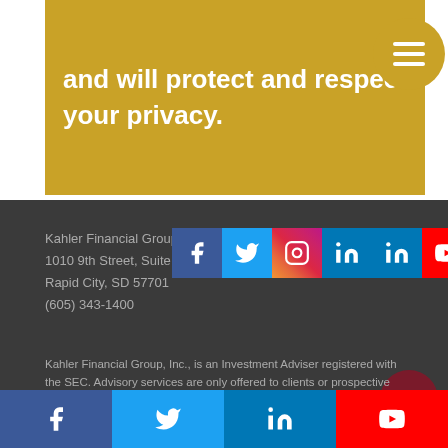and will protect and respect your privacy.
[Figure (other): Menu button icon (hamburger) on gold circular background]
Kahler Financial Group
1010 9th Street, Suite 1
Rapid City, SD 57701
(605) 343-1400
[Figure (other): Row of social media icons: Facebook, Twitter, Instagram, LinkedIn, LinkedIn, YouTube]
[Figure (other): Scroll-to-top button (dark red circle with up arrow)]
Kahler Financial Group, Inc., is an Investment Adviser registered with the SEC. Advisory services are only offered to clients or prospective clients where Kahler Financial Group, Inc., and its representatives are properly licensed or exempt from licensure.
[Figure (other): Bottom social share bar with Facebook, Twitter, LinkedIn, YouTube icons]